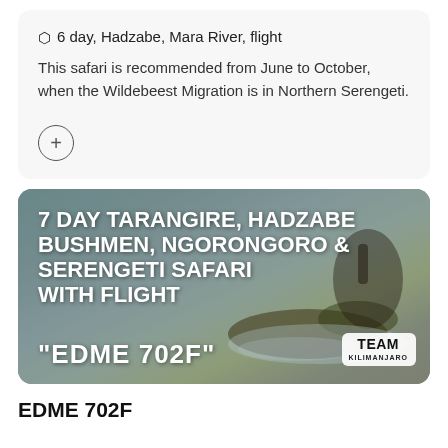6 day, Hadzabe, Mara River, flight
This safari is recommended from June to October, when the Wildebeest Migration is in Northern Serengeti.
[Figure (photo): Safari banner image showing wildebeest/crocodile in river with overlaid text: 7 DAY TARANGIRE, HADZABE BUSHMEN, NGORONGORO & SERENGETI SAFARI WITH FLIGHT and code EDME 702F with Team Kilimanjaro badge]
EDME 702F